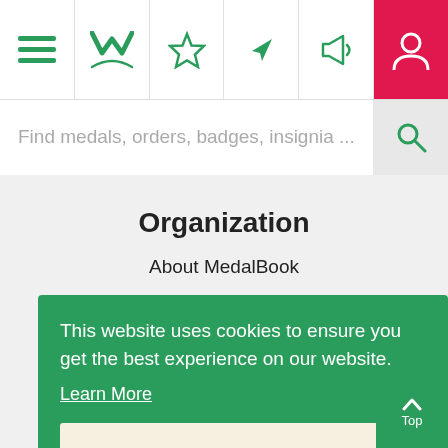[Figure (screenshot): Mobile app navigation bar with hamburger menu, M logo, star, navigation arrow, megaphone icons in green, and person icon on red background]
[Figure (screenshot): Search bar with placeholder text 'Find medals, orders, badges, insignia ...' and search icon]
Organization
About MedalBook
Acknowledgements
Contact Us
Terms And Conditions
Privacy Policy
This website uses cookies to ensure you get the best experience on our website.
Learn More
Got It!
Your Account
Join Now
Log In
My Medals